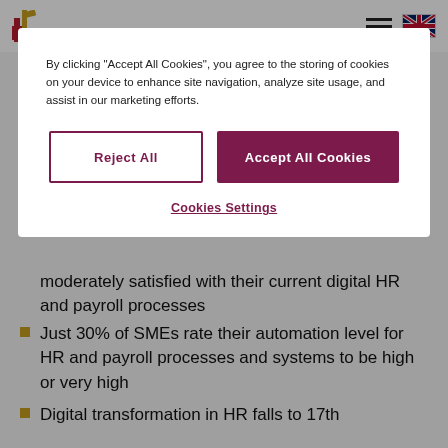[Logo] [hamburger menu] [UK flag]
By clicking "Accept All Cookies", you agree to the storing of cookies on your device to enhance site navigation, analyze site usage, and assist in our marketing efforts.
Reject All
Accept All Cookies
Cookies Settings
moderately satisfied with their current digital HR and payroll processes
Just 30% of SMEs rate their automation level for HR and payroll processes and systems to be high or very high
Digital transformation in HR falls to 17th